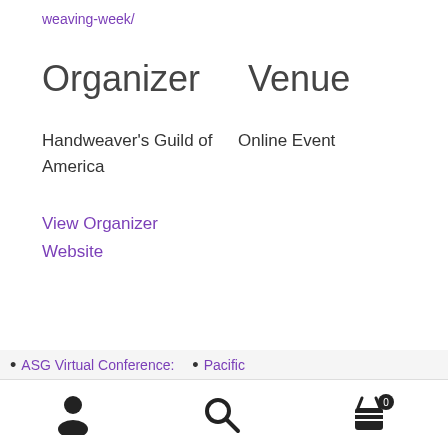weaving-week/
Organizer    Venue
Handweaver's Guild of America
Online Event
View Organizer Website
ASG Virtual Conference:
Pacific